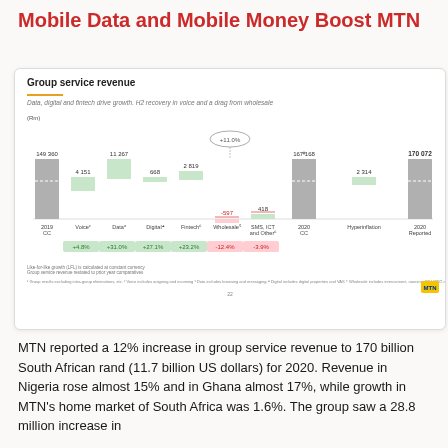Mobile Data and Mobile Money Boost MTN
[Figure (waterfall-chart): Waterfall chart showing group service revenue components from 2019 CC to 2020 Reported. Data, digital and fintech drive growth. H2 recovery in voice and a drag from wholesale.]
MTN reported a 12% increase in group service revenue to 170 billion South African rand (11.7 billion US dollars) for 2020.  Revenue in Nigeria rose almost 15% and in Ghana almost 17%, while growth in MTN's home market of South Africa was 1.6%. The group saw a 28.8 million increase in